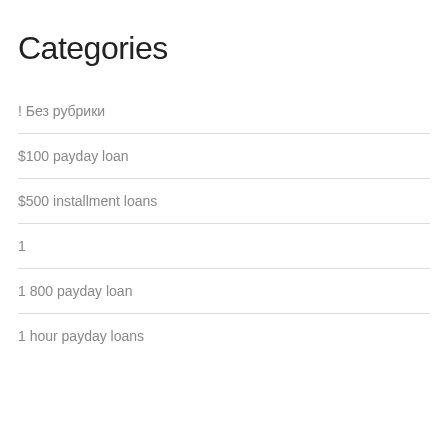Categories
! Без рубрики
$100 payday loan
$500 installment loans
1
1 800 payday loan
1 hour payday loans